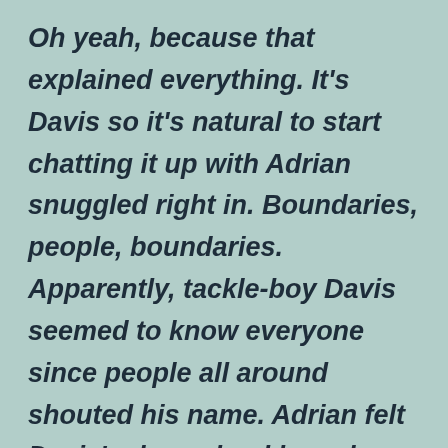Oh yeah, because that explained everything. It's Davis so it's natural to start chatting it up with Adrian snuggled right in. Boundaries, people, boundaries. Apparently, tackle-boy Davis seemed to know everyone since people all around shouted his name. Adrian felt Davis's deep chuckle and wondered why the hell he was still being held by him.
Adrian turned and glanced over his shoulder, then kind of wished he hadn't. Davis was laughing while talking to the